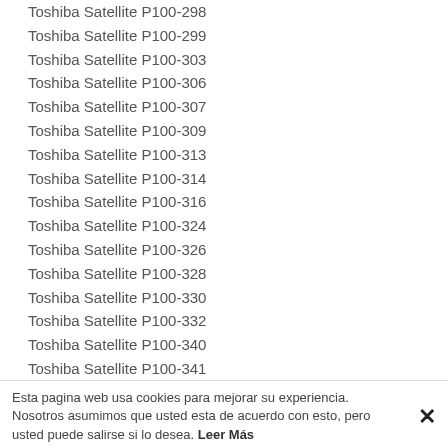Toshiba Satellite P100-298
Toshiba Satellite P100-299
Toshiba Satellite P100-303
Toshiba Satellite P100-306
Toshiba Satellite P100-307
Toshiba Satellite P100-309
Toshiba Satellite P100-313
Toshiba Satellite P100-314
Toshiba Satellite P100-316
Toshiba Satellite P100-324
Toshiba Satellite P100-326
Toshiba Satellite P100-328
Toshiba Satellite P100-330
Toshiba Satellite P100-332
Toshiba Satellite P100-340
Toshiba Satellite P100-341
Toshiba Satellite P100-342
Toshiba Satellite P100-343
Toshiba Satellite P100-344
Esta pagina web usa cookies para mejorar su experiencia. Nosotros asumimos que usted esta de acuerdo con esto, pero usted puede salirse si lo desea. Leer Más